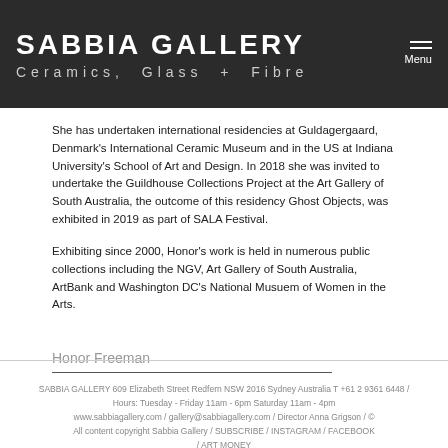SABBIA GALLERY Ceramics, Glass + Fibre
She has undertaken international residencies at Guldagergaard, Denmark's International Ceramic Museum and in the US at Indiana University's School of Art and Design. In 2018 she was invited to undertake the Guildhouse Collections Project at the Art Gallery of South Australia, the outcome of this residency Ghost Objects, was exhibited in 2019 as part of SALA Festival.
Exhibiting since 2000, Honor's work is held in numerous public collections including the NGV, Art Gallery of South Australia, ArtBank and Washington DC's National Musuem of Women in the Arts.
Honor Freeman
SABBIA GALLERY 609 Elizabeth Street Redfern NSW 2016 Sydney Australia T +61 2 9361 6448 / Hours: Tuesday - Friday 11am - 6pm Saturday 11am - 4pm www.sabbiagallery.com / gallery@sabbiagallery.com / Director Anna Grigson / © All content copyright Sabbia Gallery / SUBSCRIBE / INSTAGRAM / FACEBOOK / ART MONEY